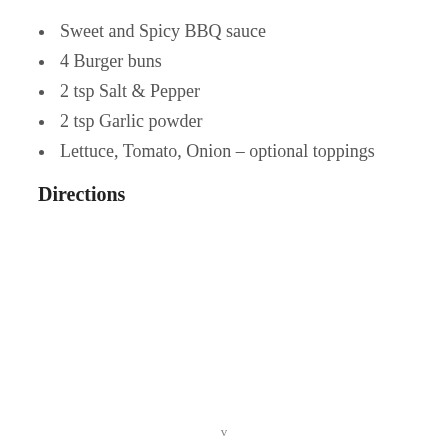Sweet and Spicy BBQ sauce
4 Burger buns
2 tsp Salt & Pepper
2 tsp Garlic powder
Lettuce, Tomato, Onion – optional toppings
Directions
v